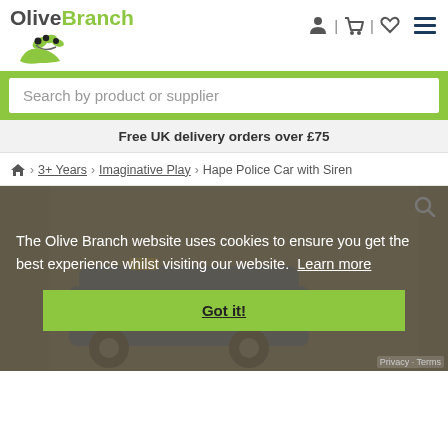OliveBranch logo and navigation icons
Search by product or supplier
Free UK delivery orders over £75
Home › 3+ Years › Imaginative Play › Hape Police Car with Siren
[Figure (screenshot): Hape Police Car with Siren product image partially visible behind cookie consent overlay]
The Olive Branch website uses cookies to ensure you get the best experience whilst visiting our website. Learn more
Got it!